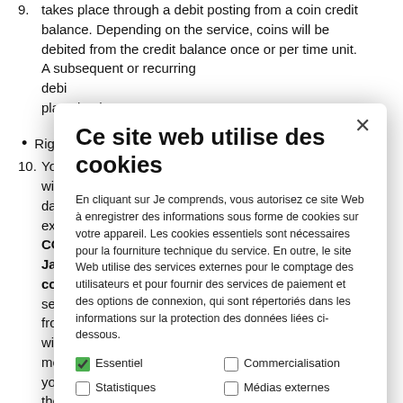9. takes place through a debit posting from a coin credit balance. Depending on the service, coins will be debited from the credit balance once or per time unit. A subsequent or recurring debit place by the o
• Right of Withd
10. You have the without giving days from the exercise your CONTENT S. Javea/Xabia ( content.com) sent by post, f from this cont withdrawal for meet the canc your notificatio the cancellatio Consequences If you withdra payments that we have received from you, including delivery
[Figure (screenshot): Cookie consent modal dialog with title 'Ce site web utilise des cookies', body text in French explaining cookie usage, checkboxes for Essentiel (checked), Commercialisation, Statistiques, Médias externes, a privacy declaration link, and three buttons: D'ACCORD, ACCEPTER TOUT, REFUSER LES COOKIES.]